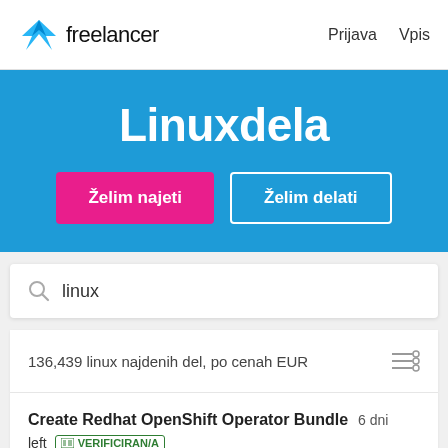Freelancer  Prijava  Vpis
Linuxdela
Želim najeti  Želim delati
linux
136,439 linux najdenih del, po cenah EUR
Create Redhat OpenShift Operator Bundle  6 dni left  VERIFICIRAN/A